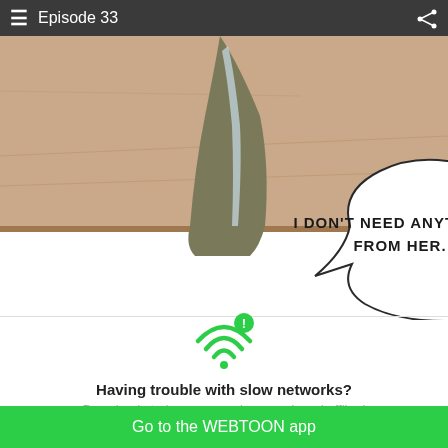Episode 33
[Figure (illustration): Webtoon comic panel showing a close-up of a character's foot/leg area with a speech bubble reading: I DON'T NEED ANYTHING FROM HER.]
[Figure (infographic): WiFi signal icon with exclamation warning badge in green]
Having trouble with slow networks?
Download stories on your phone and read offline!
Go to the WEBTOON app